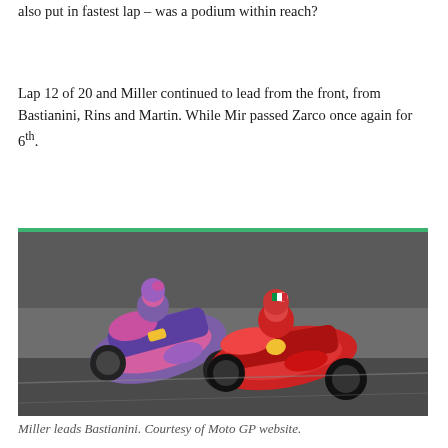also put in fastest lap – was a podium within reach?
Lap 12 of 20 and Miller continued to lead from the front, from Bastianini, Rins and Martin. While Mir passed Zarco once again for 6th.
[Figure (photo): Two MotoGP riders leaning into a corner. The rider in front is on a red Ducati (Miller) and the rider behind is on a colorful blue/pink/purple patterned bike (Bastianini).]
Miller leads Bastianini. Courtesy of Moto GP website.